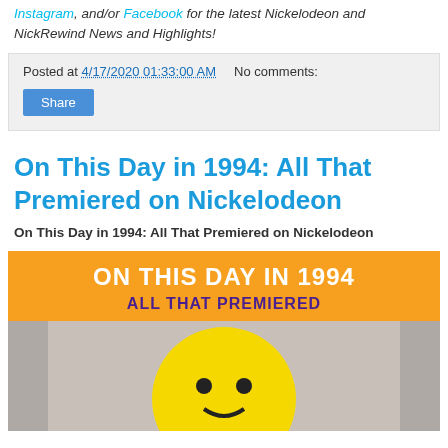Instagram, and/or Facebook for the latest Nickelodeon and NickRewind News and Highlights!
Posted at 4/17/2020 01:33:00 AM   No comments:
Share
On This Day in 1994: All That Premiered on Nickelodeon
On This Day in 1994: All That Premiered on Nickelodeon
[Figure (photo): Promotional graphic with orange background reading 'ON THIS DAY IN 1994 ALL THAT PREMIERED' in white and purple text, with cast members below in front of a large yellow smiley face]